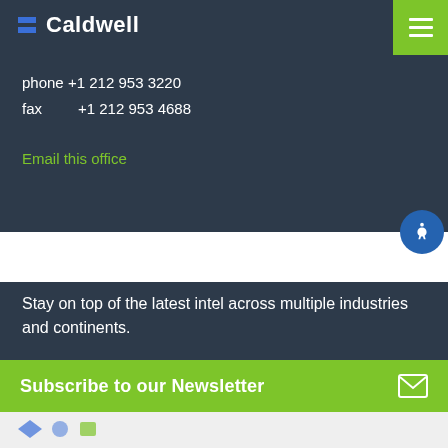[Figure (logo): Caldwell company logo with blue stacked bars icon and white bold text 'Caldwell' on dark background]
phone +1 212 953 3220
fax    +1 212 953 4688
Email this office
Stay on top of the latest intel across multiple industries and continents.
Subscribe to our Newsletter